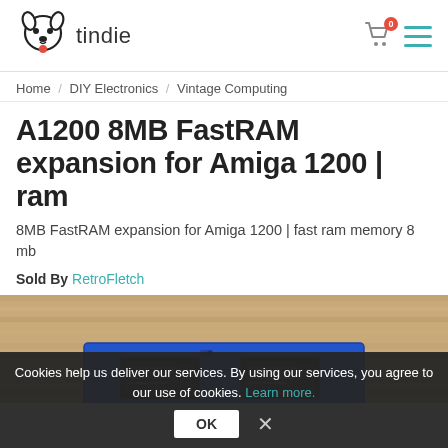tindie
Home / DIY Electronics / Vintage Computing
A1200 8MB FastRAM expansion for Amiga 1200 | ram
8MB FastRAM expansion for Amiga 1200 | fast ram memory 8 mb
Sold By RetroFletch
[Figure (photo): Photo of an A1200 8MB FastRAM expansion board (blue PCB with chips) on a wooden surface]
Cookies help us deliver our services. By using our services, you agree to our use of cookies. Learn more. OK